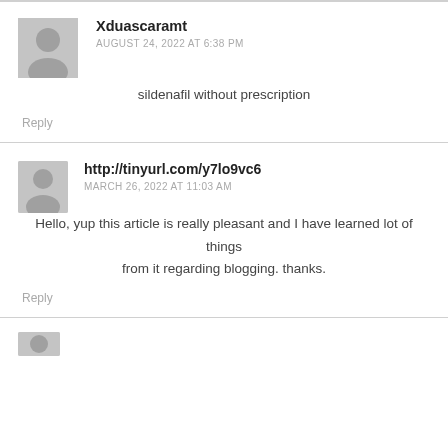Xduascaramt
AUGUST 24, 2022 AT 6:38 PM
sildenafil without prescription
Reply
http://tinyurl.com/y7lo9vc6
MARCH 26, 2022 AT 11:03 AM
Hello, yup this article is really pleasant and I have learned lot of things from it regarding blogging. thanks.
Reply